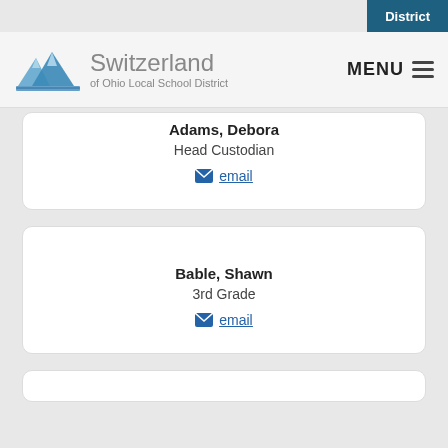District
[Figure (logo): Switzerland of Ohio Local School District logo with mountain graphic and text]
Adams, Debora
Head Custodian
email
Bable, Shawn
3rd Grade
email